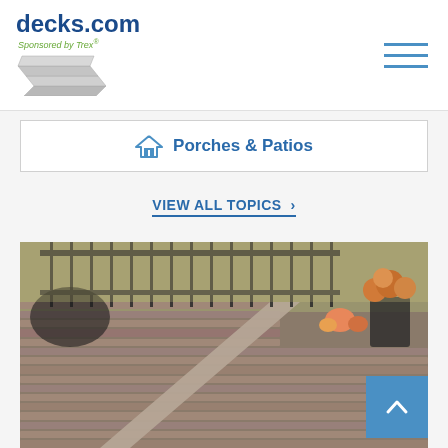[Figure (logo): decks.com logo with 'Sponsored by Trex' tagline and deck board graphic]
[Figure (infographic): Hamburger menu icon with three horizontal blue lines]
Porches & Patios
VIEW ALL TOPICS >
[Figure (photo): Close-up photo of a composite deck with patterned boards, outdoor furniture, and fall decorations including pumpkins and orange flowers]